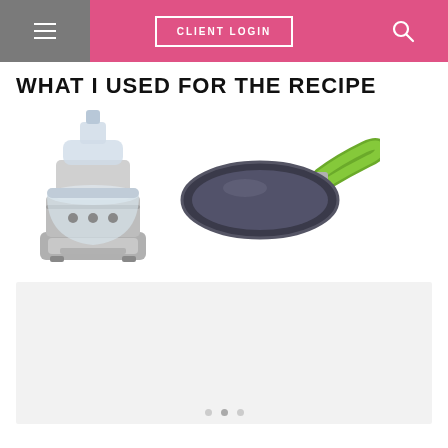CLIENT LOGIN
WHAT I USED FOR THE RECIPE
[Figure (photo): Silver Cuisinart food processor with clear bowl and lid]
[Figure (photo): Dark non-stick frying pan with green silicone handle]
[Figure (other): White content card placeholder with carousel navigation dots]